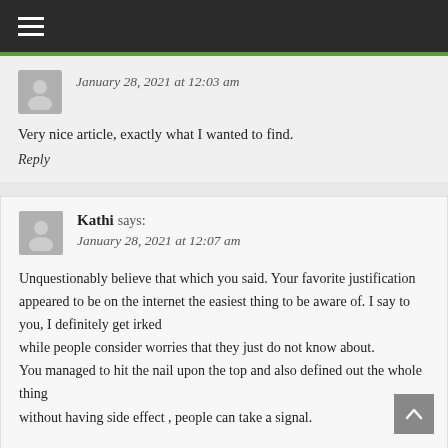☰ (navigation menu)
January 28, 2021 at 12:03 am
Very nice article, exactly what I wanted to find.
Reply
Kathi says:
January 28, 2021 at 12:07 am
Unquestionably believe that which you said. Your favorite justification appeared to be on the internet the easiest thing to be aware of. I say to you, I definitely get irked while people consider worries that they just do not know about.
You managed to hit the nail upon the top and also defined out the whole thing without having side effect , people can take a signal.

Will likely be back to get more. Thanks